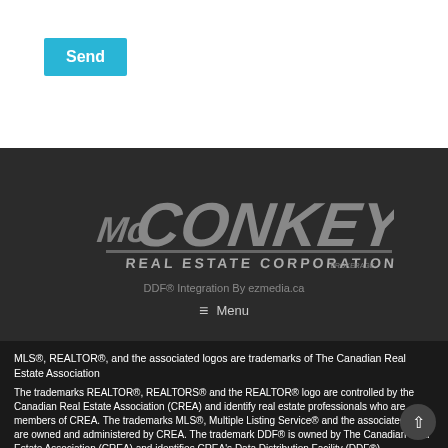[Figure (other): A cyan/teal 'Send' button on white background]
[Figure (logo): McCONKEY REAL ESTATE CORPORATION BROKERAGE logo in grey italic letters on dark background]
DDF® Integration By ezmedia.ca
≡ Menu
MLS®, REALTOR®, and the associated logos are trademarks of The Canadian Real Estate Association
The trademarks REALTOR®, REALTORS® and the REALTOR® logo are controlled by the Canadian Real Estate Association (CREA) and identify real estate professionals who are members of CREA. The trademarks MLS®, Multiple Listing Service® and the associated logos are owned and administered by CREA. The trademark DDF® is owned by The Canadian Real Estate Association (CREA) and identifies CREA's Data Distribution Facility (DDF®)